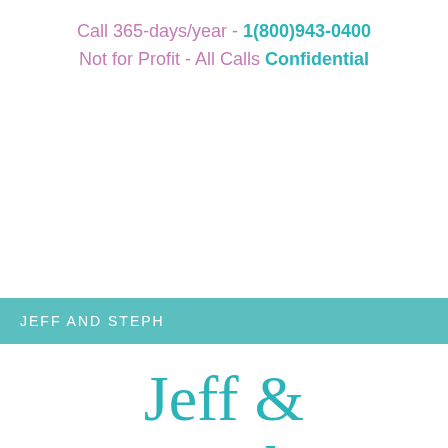Call 365-days/year - 1(800)943-0400 Not for Profit - All Calls Confidential
JEFF AND STEPH
Jeff & Steph